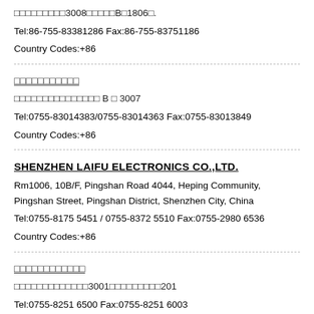□□□□□□□□□3008□□□□□B□1806□.
Tel:86-755-83381286 Fax:86-755-83751186
Country Codes:+86
□□□□□□□□□□□
□□□□□□□□□□□□□□□ B □ 3007
Tel:0755-83014383/0755-83014363 Fax:0755-83013849
Country Codes:+86
SHENZHEN LAIFU ELECTRONICS CO.,LTD.
Rm1006, 10B/F, Pingshan Road 4044, Heping Community, Pingshan Street, Pingshan District, Shenzhen City, China
Tel:0755-8175 5451 / 0755-8372 5510 Fax:0755-2980 6536
Country Codes:+86
□□□□□□□□□□□□
□□□□□□□□□□□□□3001□□□□□□□□□201
Tel:0755-8251 6500 Fax:0755-8251 6003